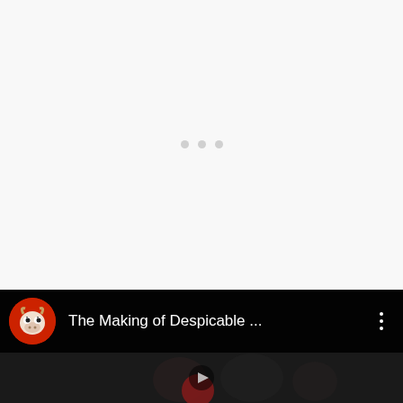[Figure (screenshot): White/light gray loading screen with three small gray dots in the center, indicating a loading state]
[Figure (screenshot): YouTube video card with dark background showing channel icon (red circle with cow/animal cartoon), video title 'The Making of Despicable ...' in white text, three-dot menu icon, and a dark video thumbnail below with a play button]